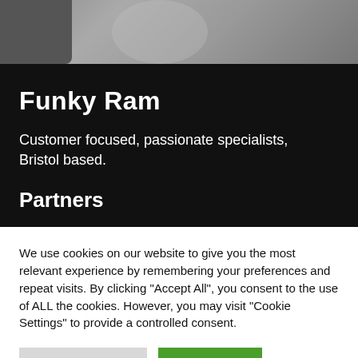[Figure (photo): Top photo strip showing partial view of a vehicle or mechanical object in grayscale]
Funky Ram
Customer focused, passionate specialists, Bristol based.
Partners
We use cookies on our website to give you the most relevant experience by remembering your preferences and repeat visits. By clicking “Accept All”, you consent to the use of ALL the cookies. However, you may visit "Cookie Settings" to provide a controlled consent.
Cookie Settings | Accept All